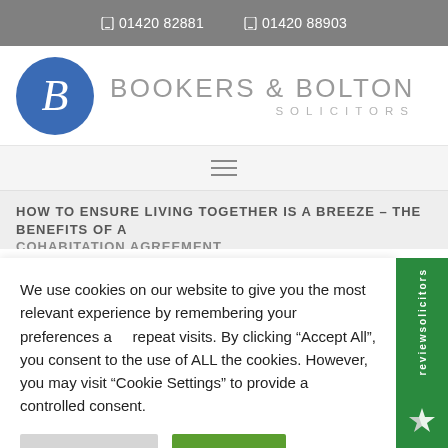01420 82881   01420 88903
[Figure (logo): Bookers & Bolton Solicitors logo with blue circle containing italic B and firm name text]
HOW TO ENSURE LIVING TOGETHER IS A BREEZE – THE BENEFITS OF A COHABITATION AGREEMENT
We use cookies on our website to give you the most relevant experience by remembering your preferences and repeat visits. By clicking "Accept All", you consent to the use of ALL the cookies. However, you may visit "Cookie Settings" to provide a controlled consent.
Cookie Settings   Accept All
[Figure (logo): reviewsolicitors green vertical badge on right side]